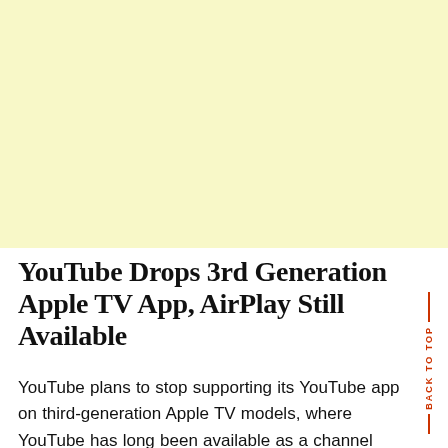[Figure (other): Light yellow/cream colored advertisement or banner block filling the top portion of the page]
YouTube Drops 3rd Generation Apple TV App, AirPlay Still Available
YouTube plans to stop supporting its YouTube app on third-generation Apple TV models, where YouTube has long been available as a channel option. A 9to5Mac reader received a message